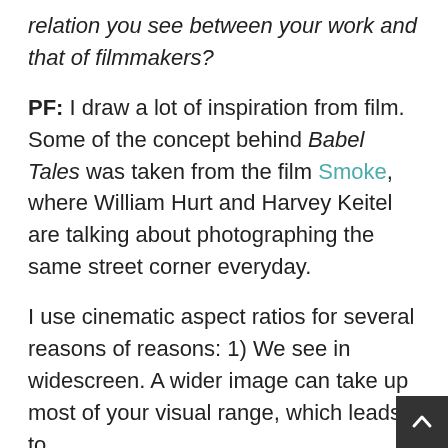relation you see between your work and that of filmmakers?
PF: I draw a lot of inspiration from film. Some of the concept behind Babel Tales was taken from the film Smoke, where William Hurt and Harvey Keitel are talking about photographing the same street corner everyday.
I use cinematic aspect ratios for several reasons of reasons: 1) We see in widescreen. A wider image can take up most of your visual range, which leads to